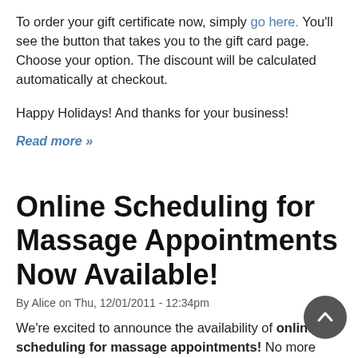To order your gift certificate now, simply go here. You'll see the button that takes you to the gift card page. Choose your option. The discount will be calculated automatically at checkout.
Happy Holidays! And thanks for your business!
Read more »
Online Scheduling for Massage Appointments Now Available!
By Alice on Thu, 12/01/2011 - 12:34pm
We're excited to announce the availability of online scheduling for massage appointments! No more